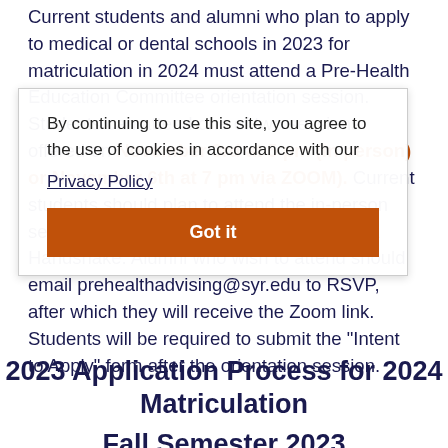Current students and alumni who plan to apply to medical or dental schools in 2023 for matriculation in 2024 must attend a Pre-Health Education Committee orientation session. Students can attend one of two sessions offered on November 3rd at 5 pm (in person) or November 6th at 7 pm via ZOOM). Current students should plan to attend the in-person session, if possible, and should register via Handshake. Alumni who wish to attend should email prehealthadvising@syr.edu to RSVP, after which they will receive the Zoom link. Students will be required to submit the "Intent to Apply" form after the orientation session.
By continuing to use this site, you agree to the use of cookies in accordance with our Privacy Policy
2023 Application Process for 2024 Matriculation